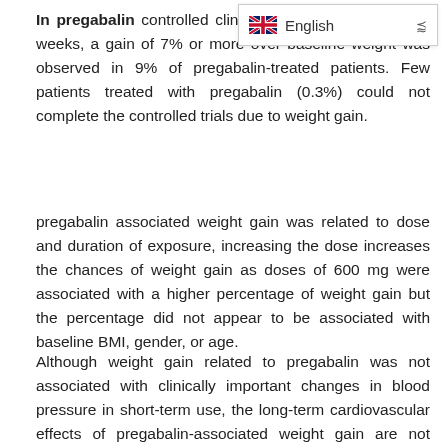In pregabalin controlled clinical trials that lasted for 14 weeks, a gain of 7% or more over baseline weight was observed in 9% of pregabalin-treated patients. Few patients treated with pregabalin (0.3%) could not complete the controlled trials due to weight gain.
pregabalin associated weight gain was related to dose and duration of exposure, increasing the dose increases the chances of weight gain as doses of 600 mg were associated with a higher percentage of weight gain but the percentage did not appear to be associated with baseline BMI, gender, or age.
Although weight gain related to pregabalin was not associated with clinically important changes in blood pressure in short-term use, the long-term cardiovascular effects of pregabalin-associated weight gain are not clear.